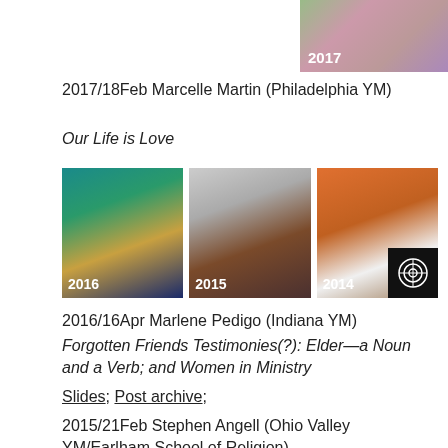[Figure (photo): Portrait photo with year label 2017, top right corner]
2017/18Feb Marcelle Martin (Philadelphia YM)
Our Life is Love
[Figure (photo): Three portrait photos side by side with year labels 2016, 2015, 2014]
2016/16Apr Marlene Pedigo (Indiana YM)
Forgotten Friends Testimonies(?): Elder—a Noun and a Verb; and Women in Ministry
Slides; Post archive;
2015/21Feb Stephen Angell (Ohio Valley YM/Earlham School of Religion)